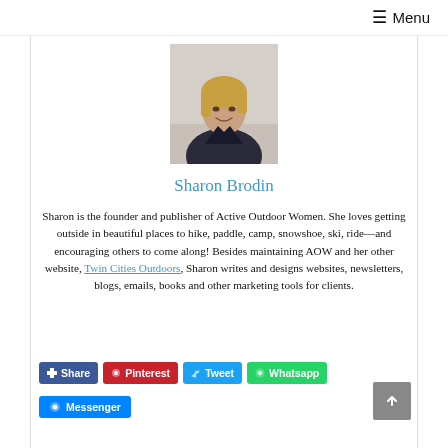☰ Menu
[Figure (photo): Headshot photo of Sharon Brodin, a woman with blonde hair, smiling, wearing a dark jacket, outdoors in winter]
Sharon Brodin
Sharon is the founder and publisher of Active Outdoor Women. She loves getting outside in beautiful places to hike, paddle, camp, snowshoe, ski, ride—and encouraging others to come along! Besides maintaining AOW and her other website, Twin Cities Outdoors, Sharon writes and designs websites, newsletters, blogs, emails, books and other marketing tools for clients.